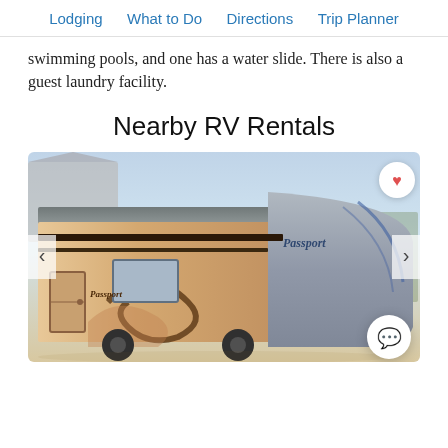Lodging  What to Do  Directions  Trip Planner
swimming pools, and one has a water slide. There is also a guest laundry facility.
Nearby RV Rentals
[Figure (photo): Photo of a tan/beige Passport brand travel trailer RV parked in a driveway, with a heart (favorite) button in the top right corner, left and right navigation arrows, and a chat button in the bottom right corner.]